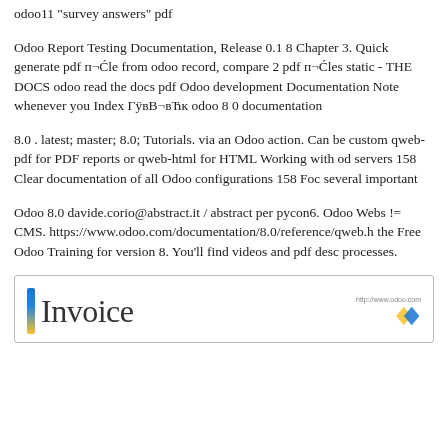odoo11 "survey answers" pdf
Odoo Report Testing Documentation, Release 0.1 8 Chapter 3. Quick generate pdf п¬Ćle from odoo record, compare 2 pdf п¬Ćles static - THE DOCS odoo read the docs pdf Odoo development Documentation Note whenever you Index ГÿвB¬вЋк odoo 8 0 documentation
8.0 . latest; master; 8.0; Tutorials. via an Odoo action. Can be custom qweb-pdf for PDF reports or qweb-html for HTML Working with od servers 158 Clear documentation of all Odoo configurations 158 Foc several important
Odoo 8.0 davide.corio@abstract.it / abstract per pycon6. Odoo Webs != CMS. https://www.odoo.com/documentation/8.0/reference/qweb.h the Free Odoo Training for version 8. You'll find videos and pdf desc processes.
[Figure (screenshot): Invoice document image showing a blue and yellow logo bar on the left and the word 'Invoice' in large text, with a small URL and diamond/arrow icon on the upper right.]